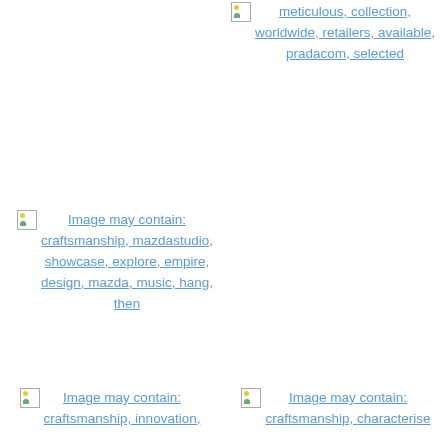[Figure (other): Broken image placeholder with alt text link: meticulous, collection, worldwide, retailers, available, pradacom, selected]
[Figure (other): Broken image placeholder with alt text link: craftsmanship, mazdastudio, showcase, explore, empire, design, mazda, music, hang, then]
[Figure (other): Broken image placeholder with alt text link: craftsmanship, innovation,]
[Figure (other): Broken image placeholder with alt text link: craftsmanship, characterise]